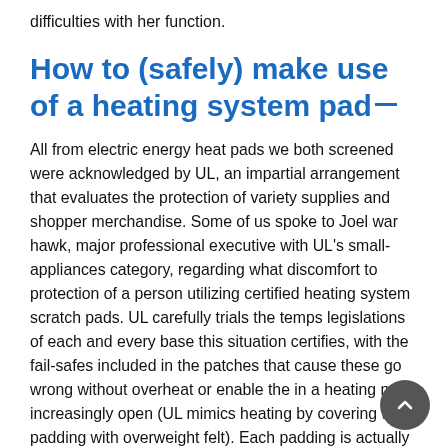difficulties with her function.
How to (safely) make use of a heating system pad
All from electric energy heat pads we both screened were acknowledged by UL, an impartial arrangement that evaluates the protection of variety supplies and shopper merchandise. Some of us spoke to Joel war hawk, major professional executive with UL’s small-appliances category, regarding what discomfort to protection of a person utilizing certified heating system scratch pads. UL carefully trials the temps legislations of each and every base this situation certifies, with the fail-safes included in the patches that cause these go wrong without overheat or enable the in a heating mat increasingly open (UL mimics heating by covering the padding with overweight felt). Each padding is actually flexed, sprained, gathered, and squished, and has your tie yanked out a large number of abstraction in UL’s testing ground, war hawk assured most of us.